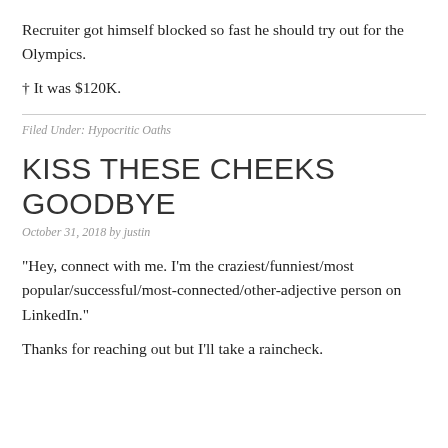Recruiter got himself blocked so fast he should try out for the Olympics.
† It was $120K.
Filed Under: Hypocritic Oaths
KISS THESE CHEEKS GOODBYE
October 31, 2018 by justin
“Hey, connect with me. I’m the craziest/funniest/most popular/successful/most-connected/other-adjective person on LinkedIn.”
Thanks for reaching out but I’ll take a raincheck.